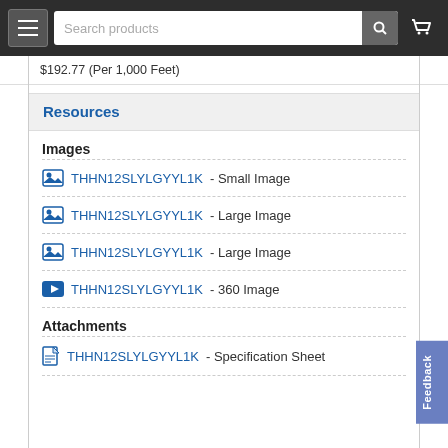Search products
$192.77 (Per 1,000 Feet)
Resources
Images
THHN12SLYLGYYL1K - Small Image
THHN12SLYLGYYL1K - Large Image
THHN12SLYLGYYL1K - Large Image
THHN12SLYLGYYL1K - 360 Image
Attachments
THHN12SLYLGYYL1K - Specification Sheet